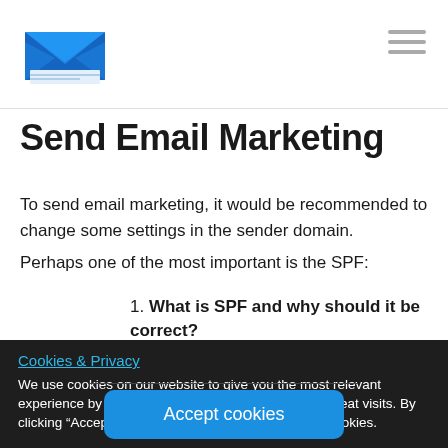[Figure (logo): Blue email envelope logo icon]
Send Email Marketing
To send email marketing, it would be recommended to change some settings in the sender domain.
Perhaps one of the most important is the SPF:
1. What is SPF and why should it be correct?
Cookies & Privacy
We use cookies on our website to give you the most relevant experience by remembering your preferences and repeat visits. By clicking “Accept”, you consent to the use of ALL the cookies.
Accept cookies